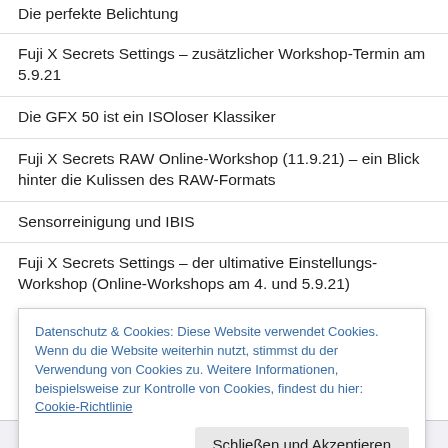Die perfekte Belichtung
Fuji X Secrets Settings – zusätzlicher Workshop-Termin am 5.9.21
Die GFX 50 ist ein ISOloser Klassiker
Fuji X Secrets RAW Online-Workshop (11.9.21) – ein Blick hinter die Kulissen des RAW-Formats
Sensorreinigung und IBIS
Fuji X Secrets Settings – der ultimative Einstellungs-Workshop (Online-Workshops am 4. und 5.9.21)
Datenschutz & Cookies: Diese Website verwendet Cookies. Wenn du die Website weiterhin nutzt, stimmst du der Verwendung von Cookies zu. Weitere Informationen, beispielsweise zur Kontrolle von Cookies, findest du hier: Cookie-Richtlinie
Schließen und Akzeptieren
14 – am Sonntag (19. April) um 17.30 Uhr